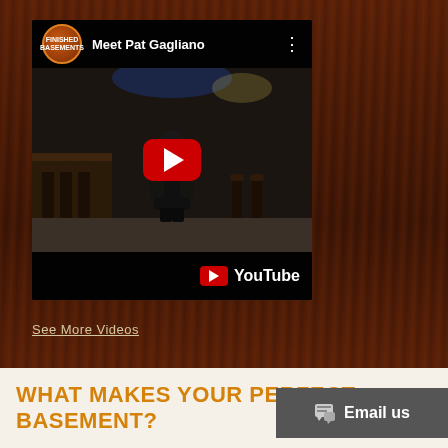[Figure (screenshot): YouTube video thumbnail showing 'Meet Pat Gagliano' with a play button, showing a man in a basement/bar area. YouTube logo visible at bottom right of player.]
See More Videos
WHAT MAKES YOUR PERFECT BASEMENT?
[Figure (other): Email us chat button overlay in bottom right corner]